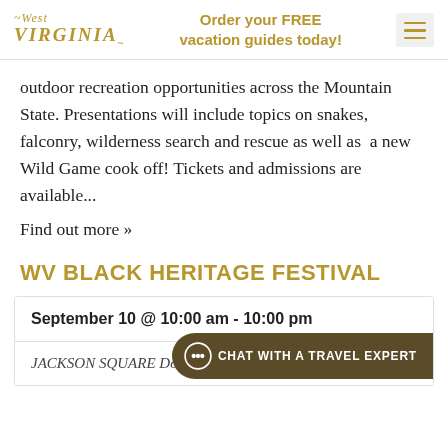West Virginia | Order your FREE vacation guides today!
outdoor recreation opportunities across the Mountain State. Presentations will include topics on snakes, falconry, wilderness search and rescue as well as a new Wild Game cook off! Tickets and admissions are available...
Find out more »
WV BLACK HERITAGE FESTIVAL
| Date | Location |
| --- | --- |
| September 10 @ 10:00 am - 10:00 pm | JACKSON SQUARE Downtown Pike Street, Clarksburg, WV C... |